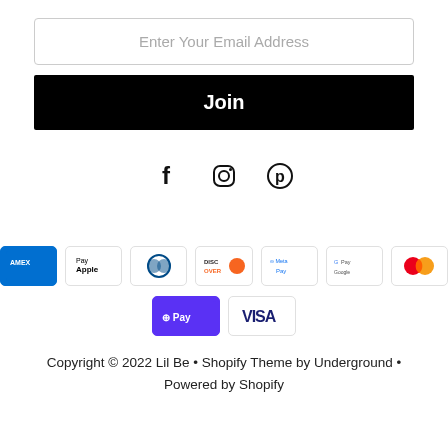Enter Your Email Address
Join
[Figure (other): Social media icons: Facebook, Instagram, Pinterest]
[Figure (other): Payment method badges: American Express, Apple Pay, Diners Club, Discover, Meta Pay, Google Pay, Mastercard, Shop Pay, Visa]
Copyright © 2022 Lil Be • Shopify Theme by Underground • Powered by Shopify